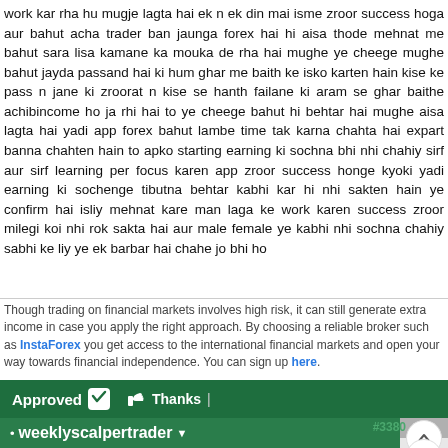work kar rha hu mugje lagta hai ek n ek din mai isme zroor success hoga aur bahut acha trader ban jaunga forex hai hi aisa thode mehnat me bahut sara lisa kamane ka mouka de rha hai mughe ye cheege mughe bahut jayda passand hai ki hum ghar me baith ke isko karten hain kise ke pass n jane ki zroorat n kise se hanth failane ki aram se ghar baithe achibincome ho ja rhi hai to ye cheege bahut hi behtar hai mughe aisa lagta hai yadi app forex bahut lambe time tak karna chahta hai expart banna chahten hain to apko starting earning ki sochna bhi nhi chahiy sirf aur sirf learning per focus karen app zroor success honge kyoki yadi earning ki sochenge tibutna behtar kabhi kar hi nhi sakten hain ye confirm hai isliy mehnat kare man laga ke work karen success zroor milegi koi nhi rok sakta hai aur male female ye kabhi nhi sochna chahiy sabhi ke liy ye ek barbar hai chahe jo bhi ho
Though trading on financial markets involves high risk, it can still generate extra income in case you apply the right approach. By choosing a reliable broker such as InstaForex you get access to the international financial markets and open your way towards financial independence. You can sign up here.
Approved   Thanks |
• weeklyscalpertrader #3380